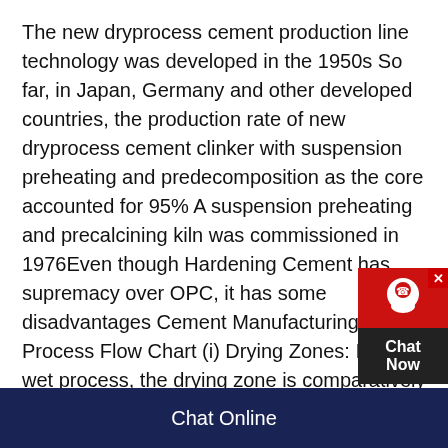The new dryprocess cement production line technology was developed in the 1950s So far, in Japan, Germany and other developed countries, the production rate of new dryprocess cement clinker with suspension preheating and predecomposition as the core accounted for 95% A suspension preheating and precalcining kiln was commissioned in 1976Even though Hardening Cement has supremacy over OPC, it has some disadvantages Cement Manufacturing Process Flow Chart (i) Drying Zones: In the wet process, the drying zone is comparatively larger than the dry process 3 Size of the kiln needed for the manufacturing of cement is smalleradvantages and disadvantages of dry process of cementDry process 1 Mixing of raw material in a dry state in blenders 2 The dry materials exiting the mill are
Chat Online